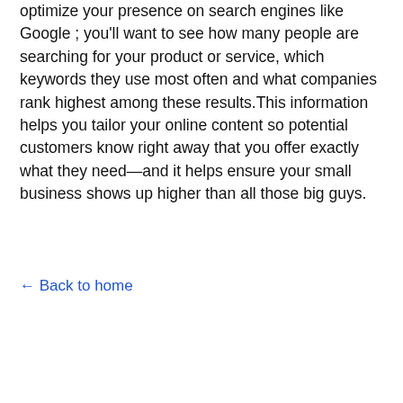optimize your presence on search engines like Google ; you'll want to see how many people are searching for your product or service, which keywords they use most often and what companies rank highest among these results.This information helps you tailor your online content so potential customers know right away that you offer exactly what they need—and it helps ensure your small business shows up higher than all those big guys.
← Back to home